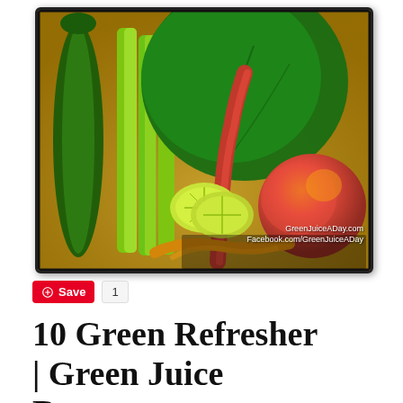[Figure (photo): Overhead photo of green juice ingredients on a wooden board: cucumber, celery stalks, large green swiss chard leaf with red stem, lime slices, turmeric root, apple, and ginger. Watermark reads GreenJuiceADay.com and Facebook.com/GreenJuiceADay]
Save  1
10 Green Refresher | Green Juice Recipe